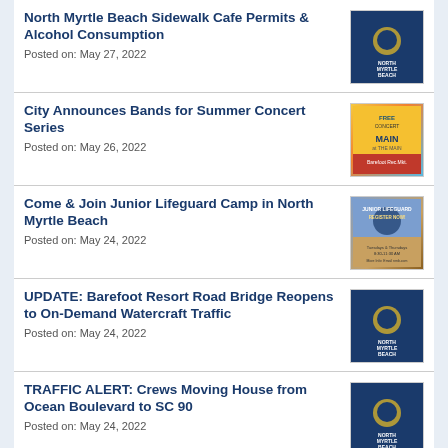North Myrtle Beach Sidewalk Cafe Permits & Alcohol Consumption
Posted on: May 27, 2022
City Announces Bands for Summer Concert Series
Posted on: May 26, 2022
Come & Join Junior Lifeguard Camp in North Myrtle Beach
Posted on: May 24, 2022
UPDATE: Barefoot Resort Road Bridge Reopens to On-Demand Watercraft Traffic
Posted on: May 24, 2022
TRAFFIC ALERT: Crews Moving House from Ocean Boulevard to SC 90
Posted on: May 24, 2022